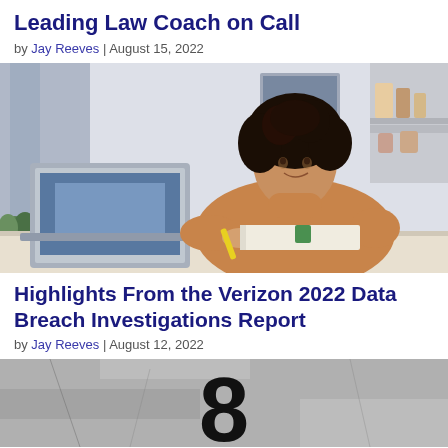Leading Law Coach on Call
by Jay Reeves | August 15, 2022
[Figure (photo): Woman with curly hair in an orange/tan sweater sitting at a desk with a laptop, writing notes with a yellow pen. Bright home office background with plants and shelves.]
Highlights From the Verizon 2022 Data Breach Investigations Report
by Jay Reeves | August 12, 2022
[Figure (photo): Black and white image of a weathered surface showing a large numeral 8.]